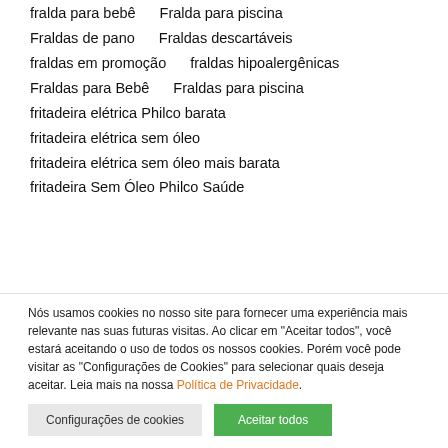fralda para bebê    Fralda para piscina
Fraldas de pano    Fraldas descartáveis
fraldas em promoção    fraldas hipoalergênicas
Fraldas para Bebê    Fraldas para piscina
fritadeira elétrica Philco barata
fritadeira elétrica sem óleo
fritadeira elétrica sem óleo mais barata
fritadeira Sem Óleo Philco Saúde
Nós usamos cookies no nosso site para fornecer uma experiência mais relevante nas suas futuras visitas. Ao clicar em "Aceitar todos", você estará aceitando o uso de todos os nossos cookies. Porém você pode visitar as "Configurações de Cookies" para selecionar quais deseja aceitar. Leia mais na nossa Política de Privacidade.
Configurações de cookies    Aceitar todos